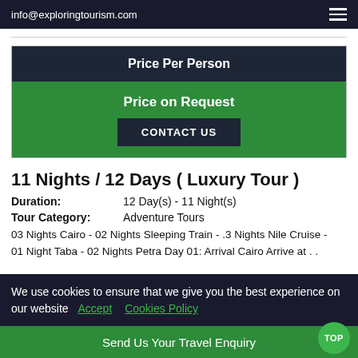info@exploringtourism.com
| Price Per Person |
| --- |
| Price on Request |
| CONTACT US |
11 Nights / 12 Days ( Luxury Tour )
Duration: 12 Day(s) - 11 Night(s)
Tour Category: Adventure Tours
03 Nights Cairo - 02 Nights Sleeping Train - .3 Nights Nile Cruise - 01 Night Taba - 02 Nights Petra Day 01: Arrival Cairo Arrive at . .
We use cookies to ensure that we give you the best experience on our website Accept Cookies Policy
Send Us Your Travel Enquiry